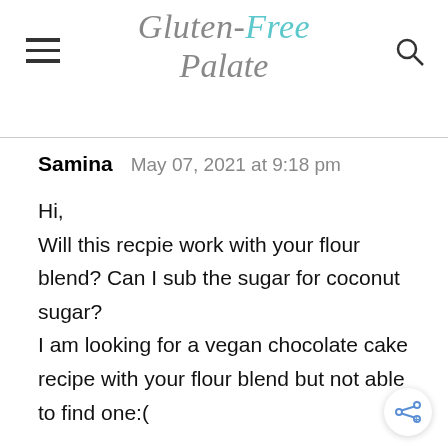Gluten-Free Palate
Samina   May 07, 2021 at 9:18 pm

Hi,
Will this recpie work with your flour blend? Can I sub the sugar for coconut sugar?
I am looking for a vegan chocolate cake recipe with your flour blend but not able to find one:(